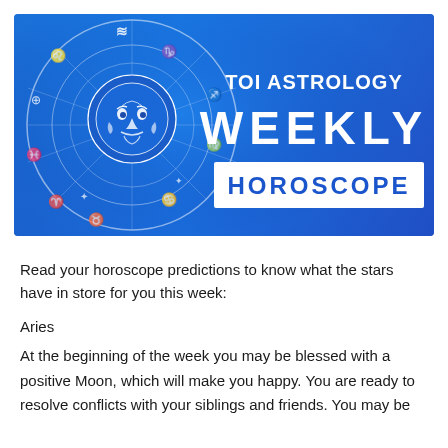[Figure (illustration): TOI Astrology Weekly Horoscope banner with blue gradient background, zodiac wheel on the left showing astrological symbols and a sun face illustration, and bold white text 'TOI ASTROLOGY WEEKLY HOROSCOPE' on the right]
Read your horoscope predictions to know what the stars have in store for you this week:
Aries
At the beginning of the week you may be blessed with a positive Moon, which will make you happy. You are ready to resolve conflicts with your siblings and friends. You may be